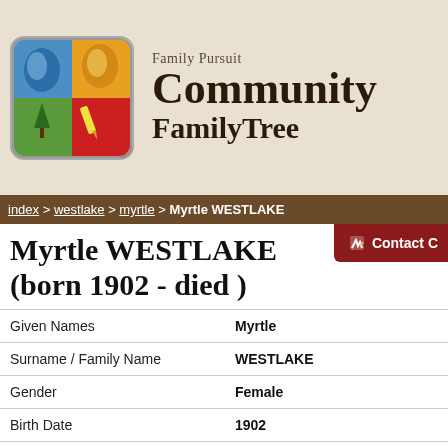Family Pursuit Community FamilyTree
index > westlake > myrtle > Myrtle WESTLAKE
Myrtle WESTLAKE (born 1902 - died )
| Field | Value |
| --- | --- |
| Given Names | Myrtle |
| Surname / Family Name | WESTLAKE |
| Gender | Female |
| Birth Date | 1902 |
| Birth Place | Dunedin, Otago, New Zealand |
| Death Date |  |
| Death Place |  |